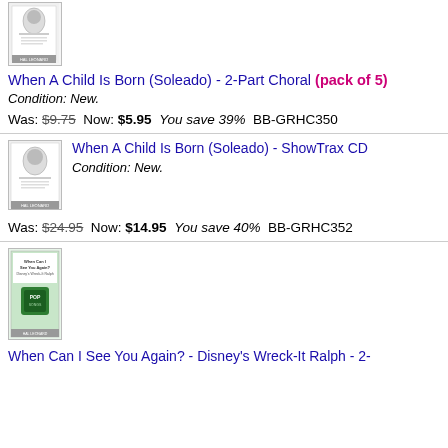[Figure (illustration): Book cover thumbnail for When A Child Is Born (Soleado) - 2-Part Choral]
When A Child Is Born (Soleado) - 2-Part Choral (pack of 5)
Condition: New.
Was: $9.75  Now: $5.95  You save 39%  BB-GRHC350
[Figure (illustration): Book cover thumbnail for When A Child Is Born (Soleado) - ShowTrax CD]
When A Child Is Born (Soleado) - ShowTrax CD
Condition: New.
Was: $24.95  Now: $14.95  You save 40%  BB-GRHC352
[Figure (illustration): Book cover thumbnail for When Can I See You Again? - Disney's Wreck-It Ralph]
When Can I See You Again? - Disney's Wreck-It Ralph - 2-